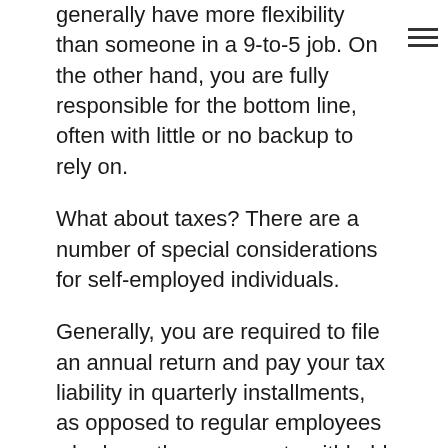generally have more flexibility than someone in a 9-to-5 job. On the other hand, you are fully responsible for the bottom line, often with little or no backup to rely on.
What about taxes? There are a number of special considerations for self-employed individuals.
Generally, you are required to file an annual return and pay your tax liability in quarterly installments, as opposed to regular employees who have these amounts withheld from their paychecks. This includes requirements to pay both income tax and self-employment tax, the equivalent of federal payroll taxes owed by employees.
The amount of tax you owe depends on your self-employment income. Essentially, this is the business income minus your expenses, used to determine your profit or loss. If you show a profit, you owe income tax and self-employment tax on the amount.